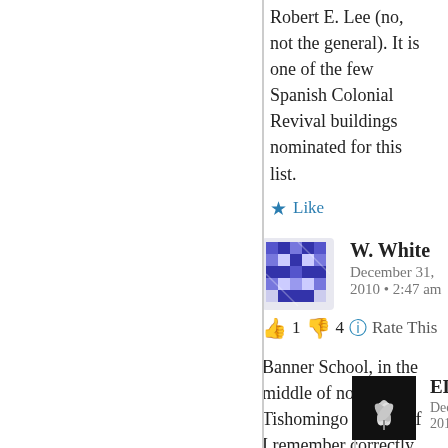Robert E. Lee (no, not the general). It is one of the few Spanish Colonial Revival buildings nominated for this list.
★ Like
[Figure (illustration): User avatar for W. White - blue geometric pixel art pattern]
W. White
December 31, 2010 • 2:47 am
👍 1 👎 4 ℹ Rate This
Banner School, in the middle of nowhere, Tishomingo County if I remember correctly (could be Itawamba County). It is a brick school, very similar in form to the Prentiss Institute, Midway School, and Black Hawk School.
★ Like
[Figure (photo): User avatar for ELMalvaney - black background with white leaf/plant design]
ELMalvaney
December 31, 2010 • 9:03 am